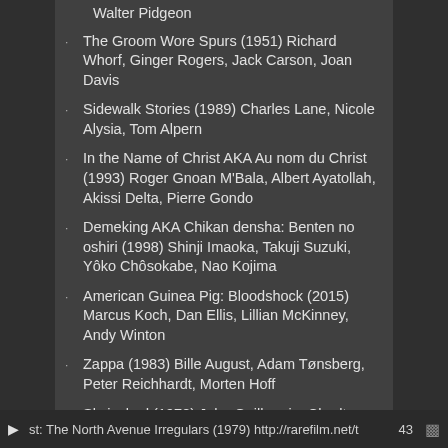Walter Pidgeon
The Groom Wore Spurs (1951) Richard Whorf, Ginger Rogers, Jack Carson, Joan Davis
Sidewalk Stories (1989) Charles Lane, Nicole Alysia, Tom Alpern
In the Name of Christ AKA Au nom du Christ (1993) Roger Gnoan M'Bala, Albert Ayatollah, Akissi Delta, Pierre Gondo
Demeking AKA Chikan densha: Benten no oshiri (1998) Shinji Imaoka, Takuji Suzuki, Yôko Chôsokabe, Nao Kojima
American Guinea Pig: Bloodshock (2015) Marcus Koch, Dan Ellis, Lillian McKinney, Andy Winton
Zappa (1983) Bille August, Adam Tønsberg, Peter Reichhardt, Morten Hoff
Skyjacked (1972) John Guillermin, Charlton Heston, James Brolin, Yvette Mimieux
Killer Instinct (2001) Ken Barbet, Corbin
st: The North Avenue Irregulars (1979) http://rarefilm.net/t  43